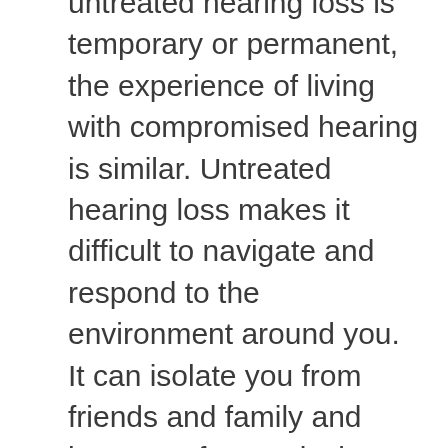untreated hearing loss is temporary or permanent, the experience of living with compromised hearing is similar. Untreated hearing loss makes it difficult to navigate and respond to the environment around you. It can isolate you from friends and family and keep you from enjoying even your most favorite activities.
The rate at which excess hearing loss is being detected at assisted living facilities points towards the need for better screening and care for aging adults. Through expanding preventative